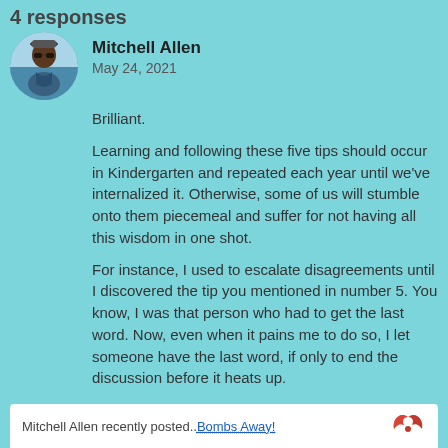4 responses
Mitchell Allen
May 24, 2021
Brilliant.

Learning and following these five tips should occur in Kindergarten and repeated each year until we've internalized it. Otherwise, some of us will stumble onto them piecemeal and suffer for not having all this wisdom in one shot.

For instance, I used to escalate disagreements until I discovered the tip you mentioned in number 5. You know, I was that person who had to get the last word. Now, even when it pains me to do so, I let someone have the last word, if only to end the discussion before it heats up.

As for all the rest, they are attributes of our mindset. The sooner we adopt them, the better we'll be.

Cheers,

Mitch
Mitchell Allen recently posted..Bombs Away!